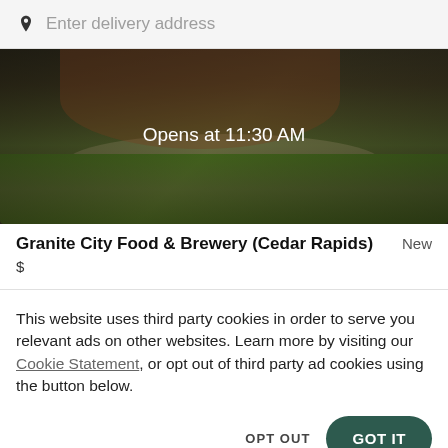Enter delivery address
[Figure (photo): Food photo showing a dish with lettuce/greens on a plate with dark overlay. Text overlay reads 'Opens at 11:30 AM']
Granite City Food & Brewery (Cedar Rapids)  New
$
This website uses third party cookies in order to serve you relevant ads on other websites. Learn more by visiting our Cookie Statement, or opt out of third party ad cookies using the button below.
OPT OUT
GOT IT